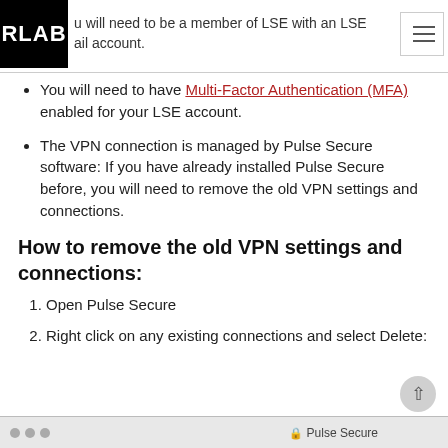RLAB — you will need to be a member of LSE with an LSE email account.
You will need to have Multi-Factor Authentication (MFA) enabled for your LSE account.
The VPN connection is managed by Pulse Secure software: If you have already installed Pulse Secure before, you will need to remove the old VPN settings and connections.
How to remove the old VPN settings and connections:
Open Pulse Secure
Right click on any existing connections and select Delete:
[Figure (screenshot): Screenshot bar showing Pulse Secure application window title bar with traffic light buttons and title 'Pulse Secure']